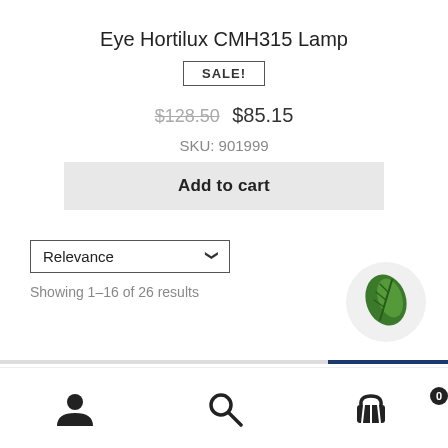Eye Hortilux CMH315 Lamp
SALE!
$128.50  $85.15
SKU: 901999
Add to cart
Relevance
Showing 1–16 of 26 results
[Figure (logo): Green leaf logo in white circle]
User icon | Search icon | Cart icon with 0 badge